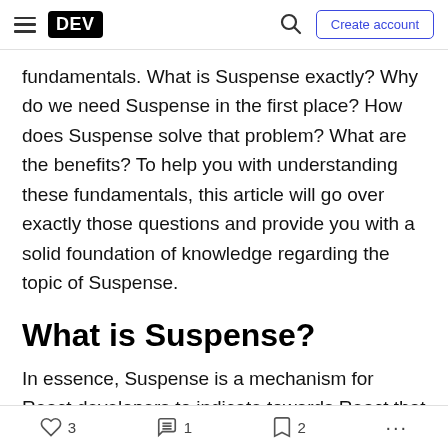DEV — Create account
fundamentals. What is Suspense exactly? Why do we need Suspense in the first place? How does Suspense solve that problem? What are the benefits? To help you with understanding these fundamentals, this article will go over exactly those questions and provide you with a solid foundation of knowledge regarding the topic of Suspense.
What is Suspense?
In essence, Suspense is a mechanism for React developers to indicate towards React that a component is waiting for data to be ready. React then knows that it should wait for that data to be
❤ 3   🔥 1   🔖 2   ...